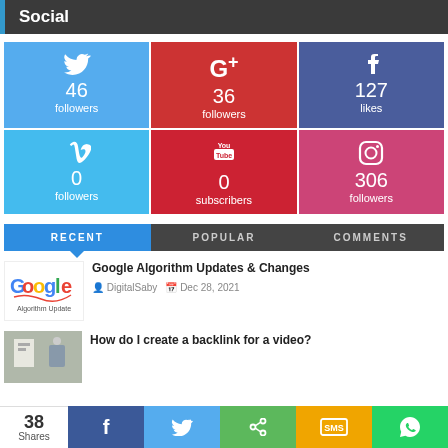Social
[Figure (infographic): Social media follower counts grid: Twitter 46 followers, Google+ 36 followers, Facebook 127 likes, Vimeo 0 followers, YouTube 0 subscribers, Instagram 306 followers]
[Figure (infographic): Tab navigation bar with three tabs: RECENT (active/blue), POPULAR, COMMENTS]
[Figure (screenshot): Article preview: Google Algorithm Updates & Changes, by DigitalSaby, Dec 28, 2021, with Google logo thumbnail]
How do I create a backlink for a video?
[Figure (infographic): Share bar at bottom: 38 Shares, Facebook, Twitter, Share, SMS, WhatsApp buttons]